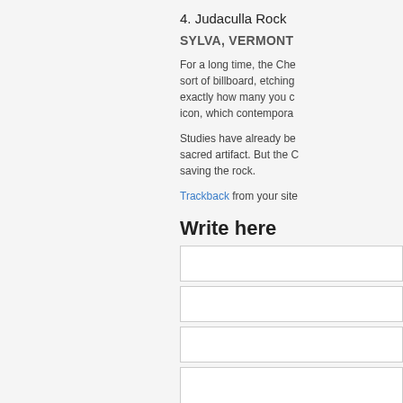4. Judaculla Rock
SYLVA, VERMONT
For a long time, the Che sort of billboard, etching exactly how many you c icon, which contempora
Studies have already be sacred artifact. But the saving the rock.
Trackback from your site
Write here
[Figure (other): Four form input fields for user text input]